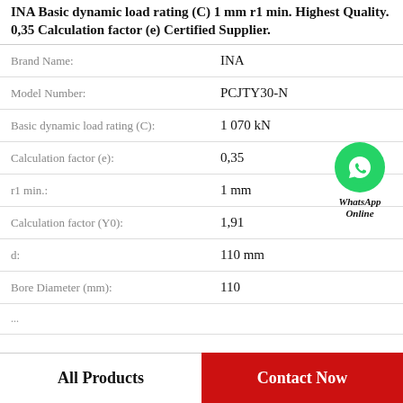INA Basic dynamic load rating (C) 1 mm r1 min. Highest Quality. 0,35 Calculation factor (e) Certified Supplier.
| Attribute | Value |
| --- | --- |
| Brand Name: | INA |
| Model Number: | PCJTY30-N |
| Basic dynamic load rating (C): | 1 070 kN |
| Calculation factor (e): | 0,35 |
| r1 min.: | 1 mm |
| Calculation factor (Y0): | 1,91 |
| d: | 110 mm |
| Bore Diameter (mm): | 110 |
[Figure (logo): WhatsApp Online green phone icon with text 'WhatsApp Online']
All Products
Contact Now